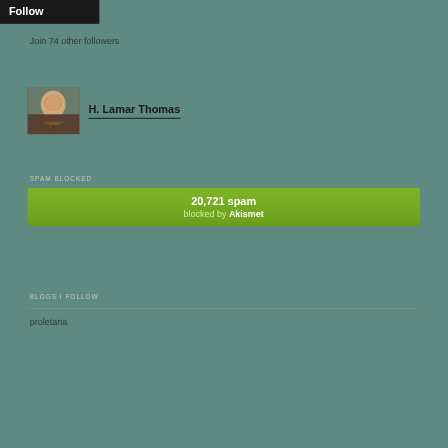[Figure (screenshot): Black Follow button]
Join 74 other followers
[Figure (photo): Profile photo of H. Lamar Thomas — a man smiling in front of stone wall background]
H. Lamar Thomas
SPAM BLOCKED
[Figure (infographic): Green Akismet spam blocked banner showing 20,721 spam blocked by Akismet]
BLOGS I FOLLOW
proletaria